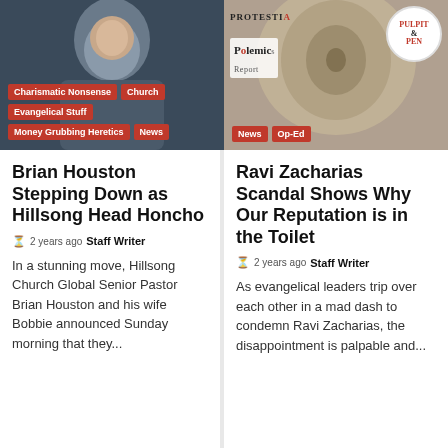[Figure (photo): Dark background image of a person, with overlaid category tag buttons: Charismatic Nonsense, Church, Evangelical Stuff, Money Grubbing Heretics, News]
[Figure (photo): Brown textured background (possibly toilet bowl top view) with Protestia, Polemics Report, and Pulpit & Pen logos, plus News and Op-Ed tag buttons]
Brian Houston Stepping Down as Hillsong Head Honcho
2 years ago  Staff Writer
In a stunning move, Hillsong Church Global Senior Pastor Brian Houston and his wife Bobbie announced Sunday morning that they...
Ravi Zacharias Scandal Shows Why Our Reputation is in the Toilet
2 years ago  Staff Writer
As evangelical leaders trip over each other in a mad dash to condemn Ravi Zacharias, the disappointment is palpable and...